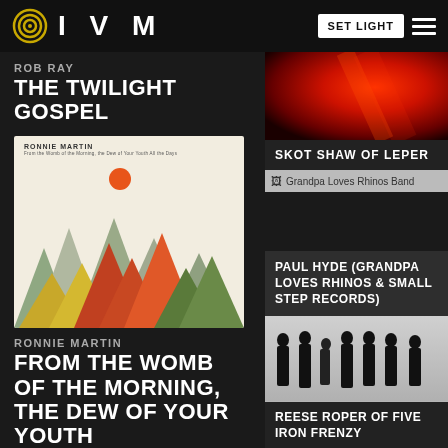IVM
ROB RAY
THE TWILIGHT GOSPEL
[Figure (illustration): Ronnie Martin album cover with geometric mountain triangles in various colors (green, yellow, orange, red) against a light background with a sun circle]
RONNIE MARTIN
FROM THE WOMB OF THE MORNING, THE DEW OF YOUR YOUTH
[Figure (photo): Red dramatic lighting photo, partially visible at top right]
SKOT SHAW OF LEPER
[Figure (photo): Grandpa Loves Rhinos Band image placeholder]
PAUL HYDE (GRANDPA LOVES RHINOS & SMALL STEP RECORDS)
[Figure (photo): Band photo showing seven people in black clothing standing against a white wall]
REESE ROPER OF FIVE IRON FRENZY